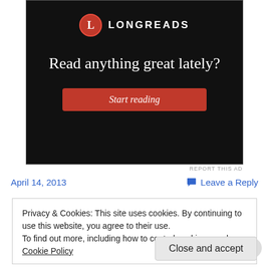[Figure (screenshot): Longreads advertisement with black background. Red circle logo with 'L', text 'LONGREADS', large white serif text 'Read anything great lately?', and a red button labeled 'Start reading'.]
REPORT THIS AD
April 14, 2013
💬 Leave a Reply
Privacy & Cookies: This site uses cookies. By continuing to use this website, you agree to their use.
To find out more, including how to control cookies, see here: Cookie Policy
Close and accept